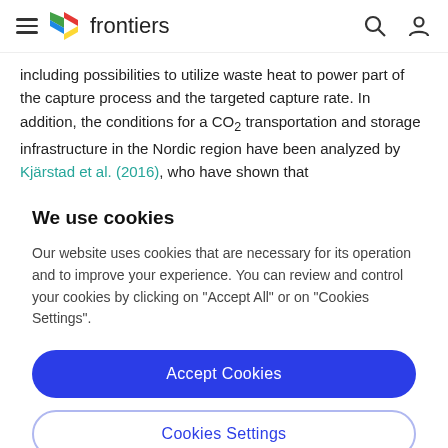frontiers
including possibilities to utilize waste heat to power part of the capture process and the targeted capture rate. In addition, the conditions for a CO₂ transportation and storage infrastructure in the Nordic region have been analyzed by Kjärstad et al. (2016), who have shown that
We use cookies
Our website uses cookies that are necessary for its operation and to improve your experience. You can review and control your cookies by clicking on "Accept All" or on "Cookies Settings".
Accept Cookies
Cookies Settings